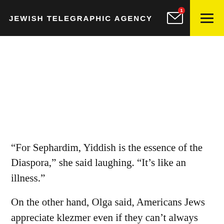JEWISH TELEGRAPHIC AGENCY
“For Sephardim, Yiddish is the essence of the Diaspora,” she said laughing. “It’s like an illness.”
On the other hand, Olga said, Americans Jews appreciate klezmer even if they can’t always follow the lyrics.